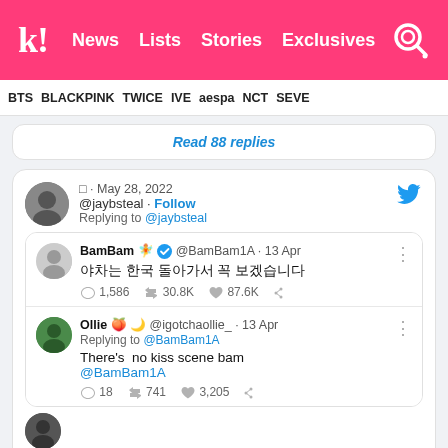k! News Lists Stories Exclusives
BTS BLACKPINK TWICE IVE aespa NCT SEVE
Read 88 replies
□ · May 28, 2022
@jaybsteal · Follow
Replying to @jaybsteal
BamBam 🧚 ✅ @BamBam1A · 13 Apr
야차는 한국 돌아가서 꼭 보겠습니다
1,586  30.8K  87.6K
Ollie 🍑 🌙 @igotchaollie_ · 13 Apr
Replying to @BamBam1A
There's  no kiss scene bam
@BamBam1A
18  741  3,205